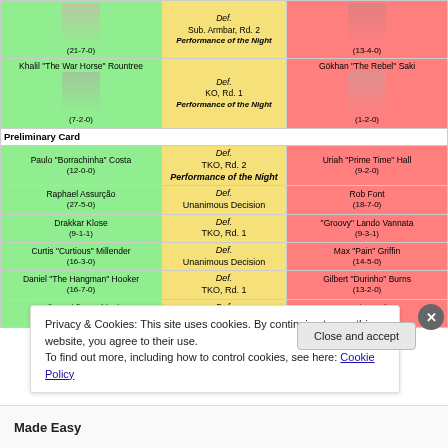| Fighter (Left) | Result | Fighter (Right) |
| --- | --- | --- |
| (21-7-0) | Def. Sub. Armbar, Rd. 2 / Performance of the Night | (13-4-0) |
| Khalil "The War Horse" Rountree (7-2-0) | Def. KO, Rd. 1 / Performance of the Night | Gökhan "The Rebel" Saki (1-2-0) |
| Preliminary Card |  |  |
| Paulo "Borrachinha" Costa (12-0-0) | Def. TKO, Rd. 2 / Performance of the Night | Uriah "Prime Time" Hall (9-2-0) |
| Raphael Assurção (27-5-0) | Def. Unanimous Decision | Rob Font (18-7-0) |
| Drakkar Klose (9-1-1) | Def. TKO, Rd. 1 | "Groovy" Lando Vannata (9-3-1) |
| Curtis "Curtious" Millender (16-3-0) | Def. Unanimous Decision | Max "Pain" Griffin (14-5-0) |
| Daniel "The Hangman" Hooker (16-7-0) | Def. TKO, Rd. 1 | Gilbert "Durinho" Burns (13-2-0) |
| Emily "Spitfire" Whitmire (3-2-0) | Def. Unanimous Decision | Jamie Moyle (4-3-0) |
Privacy & Cookies: This site uses cookies. By continuing to use this website, you agree to their use.
To find out more, including how to control cookies, see here: Cookie Policy
Close and accept
Made Easy